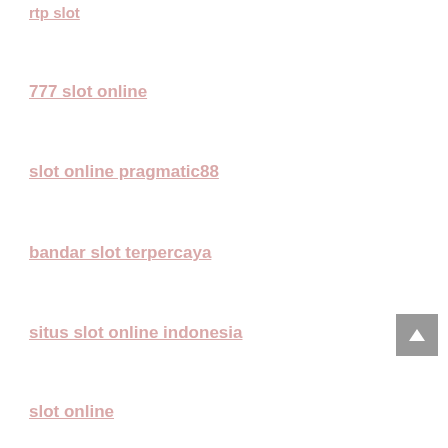rtp slot
777 slot online
slot online pragmatic88
bandar slot terpercaya
situs slot online indonesia
slot online